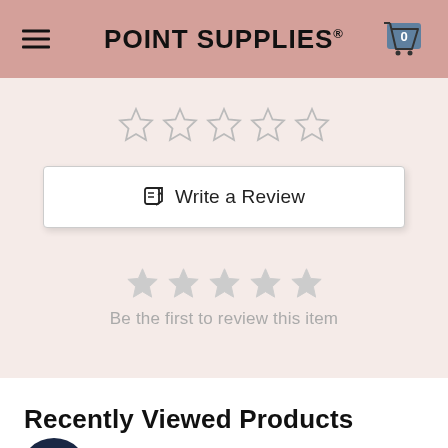POINT SUPPLIES
[Figure (screenshot): Five empty/outline star rating icons for user input]
[Figure (screenshot): Write a Review button with edit icon]
[Figure (screenshot): Five filled grey star icons indicating no reviews yet]
Be the first to review this item
Recently Viewed Products
[Figure (illustration): Dark navy circular gift/loyalty icon button in bottom left]